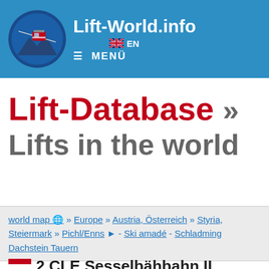Lift-World.info  ≡ MENÜ  EN
Lift-Database » Lifts in the world
world map 🌍 » Europe » Austria, Österreich » Styria, Steiermark » Pichl/Enns ▶ - Ski amadé - Schladming Dachstein Tauern
2 CLE Sesselbähbahn II